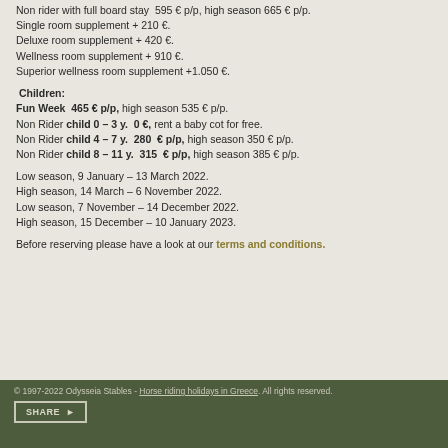Non rider with full board stay  595 € p/p, high season 665 € p/p.
Single room supplement + 210 €.
Deluxe room supplement + 420 €.
Wellness room supplement + 910 €.
Superior wellness room supplement +1.050 €.
Children:
Fun Week  465 € p/p, high season 535 € p/p.
Non Rider child 0 – 3 y.  0 €, rent a baby cot for free.
Non Rider child 4 – 7 y.  280  € p/p, high season 350 € p/p.
Non Rider child 8 – 11 y.  315  € p/p, high season 385 € p/p.
Low season, 9 January – 13 March 2022.
High season, 14 March – 6 November 2022.
Low season, 7 November – 14 December 2022.
High season, 15 December – 10 January 2023.
Before reserving please have a look at our terms and conditions.
© 1997-2022 Odysseia Stables - Horse riding holidays in Greece. All rights reserved.